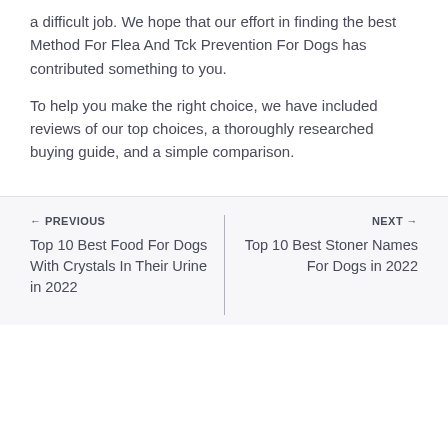a difficult job. We hope that our effort in finding the best Method For Flea And Tck Prevention For Dogs has contributed something to you.
To help you make the right choice, we have included reviews of our top choices, a thoroughly researched buying guide, and a simple comparison.
← PREVIOUS
Top 10 Best Food For Dogs With Crystals In Their Urine in 2022
NEXT →
Top 10 Best Stoner Names For Dogs in 2022